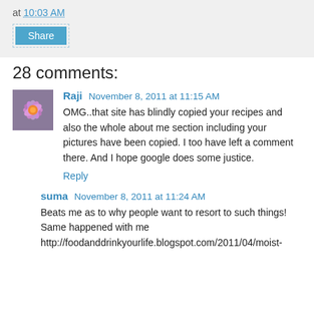at 10:03 AM
Share
28 comments:
Raji  November 8, 2011 at 11:15 AM
OMG..that site has blindly copied your recipes and also the whole about me section including your pictures have been copied. I too have left a comment there. And I hope google does some justice.
Reply
suma  November 8, 2011 at 11:24 AM
Beats me as to why people want to resort to such things! Same happened with me http://foodanddrinkyourlife.blogspot.com/2011/04/moist-